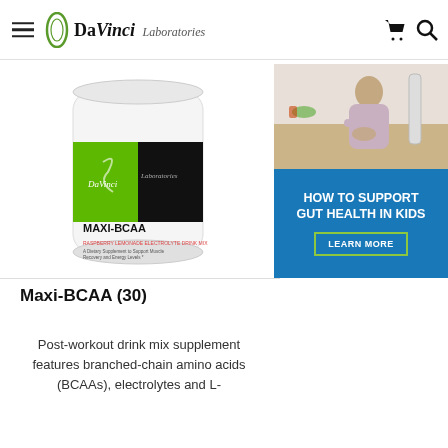DaVinci Laboratories
[Figure (photo): DaVinci Laboratories Maxi-BCAA supplement product container, white cylindrical tub with green and black label]
[Figure (photo): Advertisement banner: child sitting at table holding stomach, with blue overlay text 'HOW TO SUPPORT GUT HEALTH IN KIDS' and 'LEARN MORE' button]
Maxi-BCAA (30)
Post-workout drink mix supplement features branched-chain amino acids (BCAAs), electrolytes and L-